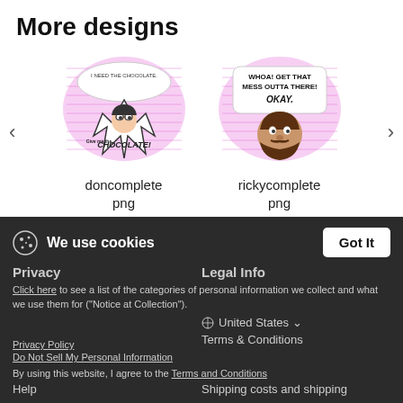More designs
[Figure (illustration): Carousel showing two product images: 'doncomplete png' (animated sticker with text 'I need the chocolate / Give me the CHOCOLATE!' on pink background) and 'rickycomplete png' (animated sticker with text 'WHOA! Get that mess outta there! OKAY.' with bearded face on pink background). Left and right navigation arrows visible.]
doncomplete png
rickycomplete png
● ○ ○ ○ ○ ○ ○
We use cookies
Click here to see a list of the categories of personal information we collect and what we use them for ("Notice at Collection").
Privacy
Legal Info
United States
Privacy Policy
Do Not Sell My Personal Information
Terms & Conditions
By using this website, I agree to the Terms and Conditions
Help
Shipping costs and shipping